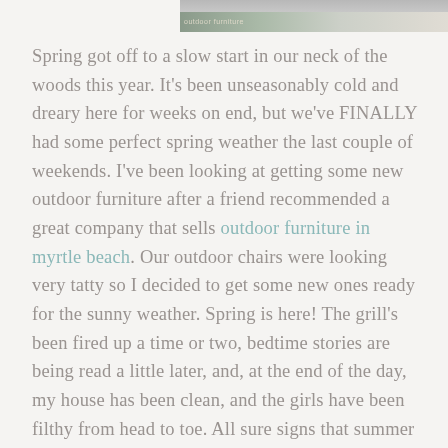[Figure (photo): Partial view of a photo at the top of the page, showing light outdoor/garden colors with a faint text overlay reading 'outdoor furniture']
Spring got off to a slow start in our neck of the woods this year. It's been unseasonably cold and dreary here for weeks on end, but we've FINALLY had some perfect spring weather the last couple of weekends. I've been looking at getting some new outdoor furniture after a friend recommended a great company that sells outdoor furniture in myrtle beach. Our outdoor chairs were looking very tatty so I decided to get some new ones ready for the sunny weather. Spring is here! The grill's been fired up a time or two, bedtime stories are being read a little later, and, at the end of the day, my house has been clean, and the girls have been filthy from head to toe. All sure signs that summer is making its way towards